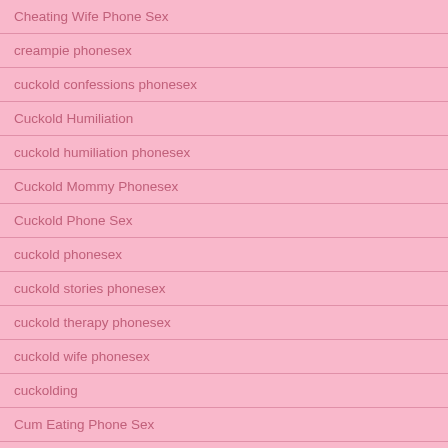Cheating Wife Phone Sex
creampie phonesex
cuckold confessions phonesex
Cuckold Humiliation
cuckold humiliation phonesex
Cuckold Mommy Phonesex
Cuckold Phone Sex
cuckold phonesex
cuckold stories phonesex
cuckold therapy phonesex
cuckold wife phonesex
cuckolding
Cum Eating Phone Sex
guilty wife
hot wife